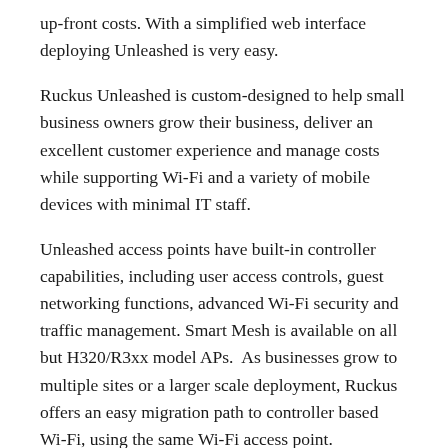up-front costs. With a simplified web interface deploying Unleashed is very easy.
Ruckus Unleashed is custom-designed to help small business owners grow their business, deliver an excellent customer experience and manage costs while supporting Wi-Fi and a variety of mobile devices with minimal IT staff.
Unleashed access points have built-in controller capabilities, including user access controls, guest networking functions, advanced Wi-Fi security and traffic management. Smart Mesh is available on all but H320/R3xx model APs.  As businesses grow to multiple sites or a larger scale deployment, Ruckus offers an easy migration path to controller based Wi-Fi, using the same Wi-Fi access point.